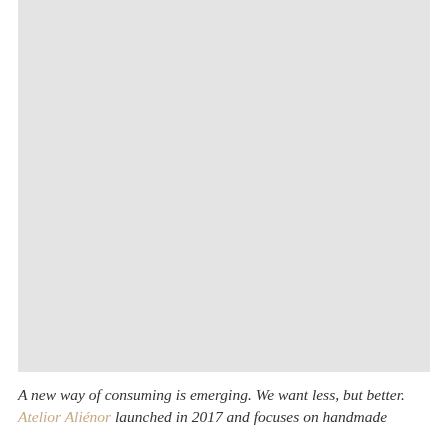[Figure (photo): A large light gray placeholder image occupying the upper portion of the page]
A new way of consuming is emerging. We want less, but better. Atelior Aliénor launched in 2017 and focuses on handmade